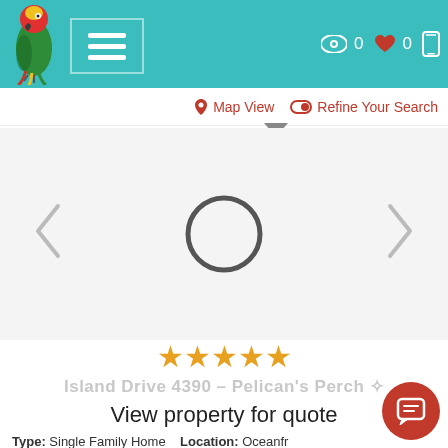[Figure (screenshot): App header with teal background, parrot logo, hamburger menu, eye icon with 0, heart icon with 0, phone icon]
Map View   Refine Your Search
[Figure (illustration): Property image carousel with left and right arrow chevrons and a loading circle spinner in the center]
[Figure (illustration): Five gold star rating]
Island Drive 4390 – Pelican's Perch
View property for quote
Type: Single Family Home   Location: Oceanfr...
4 Bedrooms (3K, 2TB, 1 PBB)   3 Baths   1 Half Bath